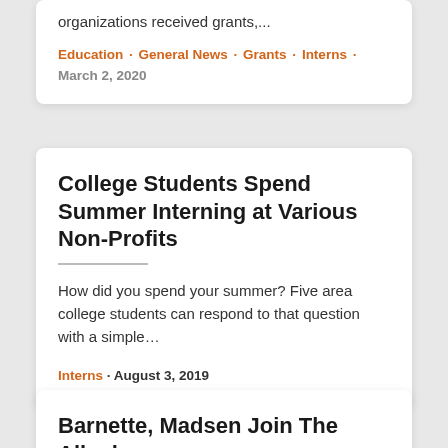organizations received grants,...
Education · General News · Grants · Interns · March 2, 2020
College Students Spend Summer Interning at Various Non-Profits
How did you spend your summer? Five area college students can respond to that question with a simple...
Interns · August 3, 2019
Barnette, Madsen Join The Alleghany Foundation Board of Dir...